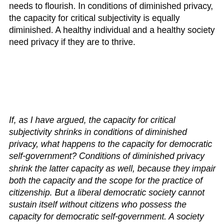needs to flourish. In conditions of diminished privacy, the capacity for critical subjectivity is equally diminished. A healthy individual and a healthy society need privacy if they are to thrive.
If, as I have argued, the capacity for critical subjectivity shrinks in conditions of diminished privacy, what happens to the capacity for democratic self-government? Conditions of diminished privacy shrink the latter capacity as well, because they impair both the capacity and the scope for the practice of citizenship. But a liberal democratic society cannot sustain itself without citizens who possess the capacity for democratic self-government. A society that permits the unchecked ascendancy of surveillance infrastructures cannot hope to remain a liberal democracy. Under such conditions, liberal democracy as a form of government is replaced, gradually but surely, by a